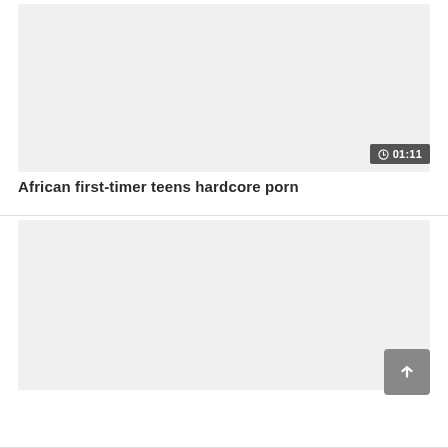[Figure (screenshot): Video thumbnail placeholder area (light gray) with a duration badge showing a clock icon and '01:11' in the top-right corner of the thumbnail]
African first-timer teens hardcore porn
[Figure (screenshot): Second video thumbnail placeholder area (light gray) with a scroll-to-top button (gray square with plus/arrow icon) in the bottom-right corner]